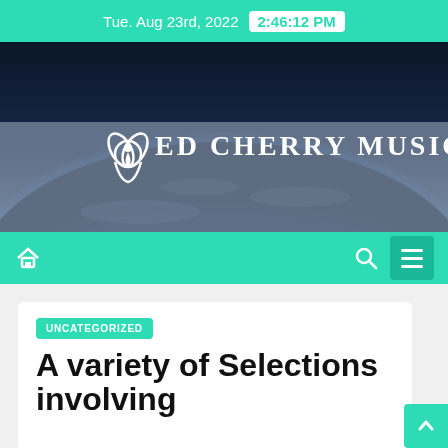Tue. Aug 23rd, 2022  2:46:12 PM
[Figure (illustration): Hero banner with dark blue Earth globe image and ED CHERRY MUSIC logo with lotus/leaf icon in white]
[Figure (other): Navigation bar with home icon, search icon, and hamburger menu button on teal/green background]
UNCATEGORIZED
A variety of Selections involving